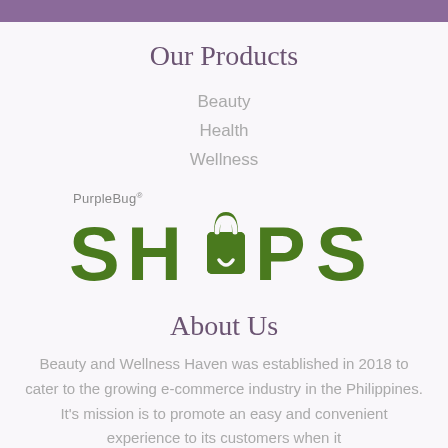Our Products
Beauty
Health
Wellness
[Figure (logo): PurpleBug Shops logo — 'PurpleBug' in grey sans-serif with registered trademark, 'SHOPS' in large bold green lettering with a shopping bag icon replacing the 'O']
About Us
Beauty and Wellness Haven was established in 2018 to cater to the growing e-commerce industry in the Philippines. It's mission is to promote an easy and convenient experience to its customers when it